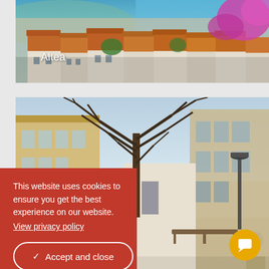[Figure (photo): Aerial view of Altea town with terracotta rooftops, white buildings, blue sea in background, and purple bougainvillea flowers on the right]
Altea
[Figure (photo): Street scene of a Spanish town plaza with a bare tree, white and yellow buildings, balconies, benches, and a stone sculpture in the foreground]
This website uses cookies to ensure you get the best experience on our website. View privacy policy
Accept and close